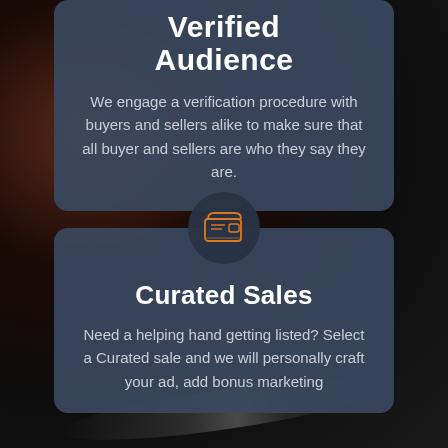Verified Audience
We engage a verification procedure with buyers and sellers alike to make sure that all buyer and sellers are who they say they are.
[Figure (illustration): Orange wallet icon on dark circular background]
Curated Sales
Need a helping hand getting listed? Select a Curated sale and we will personally craft your ad, add bonus marketing